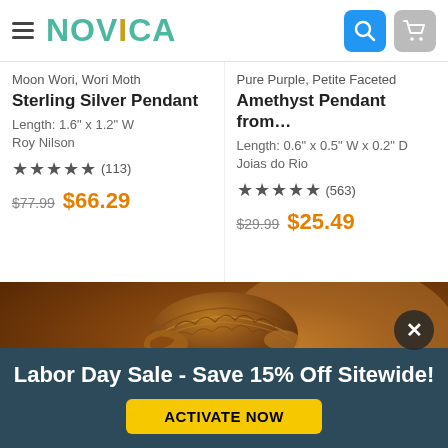NOVICA
Moon Wori, Wori Moth Sterling Silver Pendant
Length: 1.6" x 1.2" W
Roy Nilson
★★★★★ (113)
$77.99  $66.29
Pure Purple, Petite Faceted Amethyst Pendant from…
Length: 0.6" x 0.5" W x 0.2" D
Joias do Rio
★★★★★ (563)
$29.99  $25.49
[Figure (photo): Portrait of a man wearing a traditional Balinese batik head covering, looking at the camera, with a warm amber/brown background.]
Labor Day Sale - Save 15% Off Sitewide!
ACTIVATE NOW